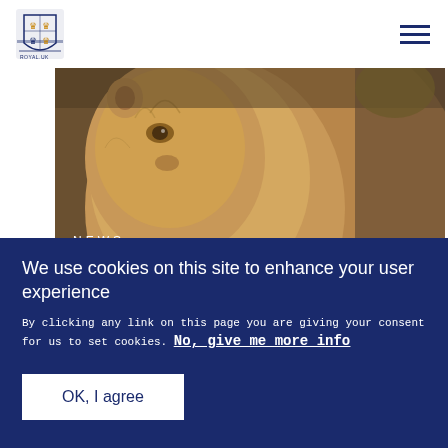[Figure (logo): UK Royal coat of arms / royal.uk logo in top left header]
[Figure (photo): Close-up photograph of a lion/lioness with golden fur, news article hero image]
NEWS
The Queen and The Duke of Edinburgh
We use cookies on this site to enhance your user experience
By clicking any link on this page you are giving your consent for us to set cookies. No, give me more info
OK, I agree